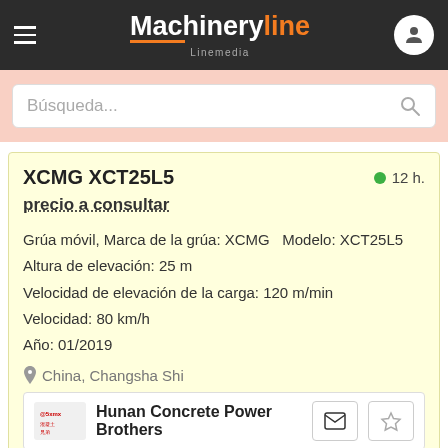Machineryline Linemedia
Búsqueda...
XCMG XCT25L5
● 12 h.
precio a consultar
Grúa móvil, Marca de la grúa: XCMG  Modelo: XCT25L5
Altura de elevación: 25 m
Velocidad de elevación de la carga: 120 m/min
Velocidad: 80 km/h
Año: 01/2019
China, Changsha Shi
Hunan Concrete Power Brothers